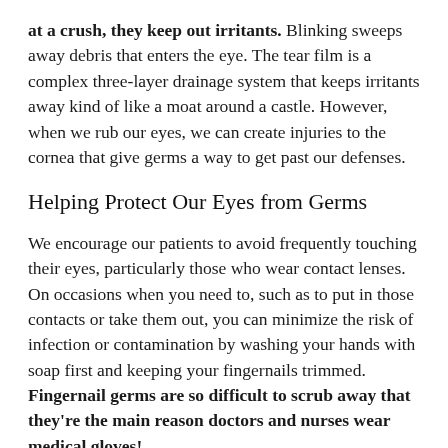at a crush, they keep out irritants. Blinking sweeps away debris that enters the eye. The tear film is a complex three-layer drainage system that keeps irritants away kind of like a moat around a castle. However, when we rub our eyes, we can create injuries to the cornea that give germs a way to get past our defenses.
Helping Protect Our Eyes from Germs
We encourage our patients to avoid frequently touching their eyes, particularly those who wear contact lenses. On occasions when you need to, such as to put in those contacts or take them out, you can minimize the risk of infection or contamination by washing your hands with soap first and keeping your fingernails trimmed. Fingernail germs are so difficult to scrub away that they're the main reason doctors and nurses wear medical gloves! (Fake nails aren't exempt from this problem either.)